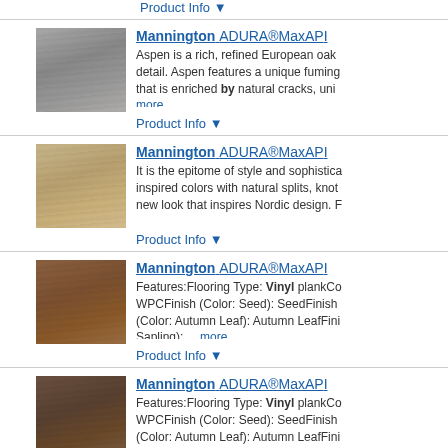Product Info ▼
[Figure (photo): Gray European oak wood flooring texture sample]
Mannington ADURA®MaxAP... Aspen is a rich, refined European oak detail. Aspen features a unique fuming that is enriched by natural cracks, uni... more
Product Info ▼
[Figure (photo): Tan/beige wood flooring texture sample]
Mannington ADURA®MaxAP... It is the epitome of style and sophistica inspired colors with natural splits, knot new look that inspires Nordic design.
Product Info ▼
[Figure (photo): Medium brown vinyl plank flooring texture sample]
Mannington ADURA®MaxAP... Features:Flooring Type: Vinyl plankCo WPCFinish (Color: Seed): SeedFinish (Color: Autumn Leaf): Autumn LeafFini Sapling): ... more
Product Info ▼
[Figure (photo): Dark brown vinyl plank flooring texture sample]
Mannington ADURA®MaxAP... Features:Flooring Type: Vinyl plankCo WPCFinish (Color: Seed): SeedFinish (Color: Autumn Leaf): Autumn LeafFini Sapling): ... more
Product Info ▼